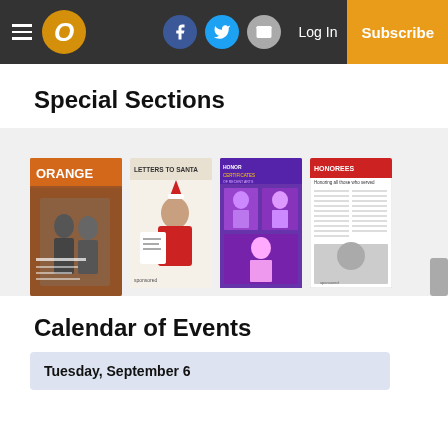Orange Observer — Log In | Subscribe
Special Sections
[Figure (illustration): Carousel of four special section magazine covers: Orange magazine cover with two people, Letters to Santa cover with child writing, another section cover with performers, and an honorees/listing page.]
Calendar of Events
Tuesday, September 6